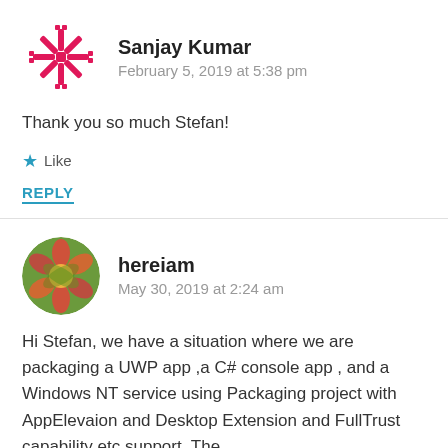Sanjay Kumar
February 5, 2019 at 5:38 pm
Thank you so much Stefan!
Like
REPLY
hereiam
May 30, 2019 at 2:24 am
Hi Stefan, we have a situation where we are packaging a UWP app ,a C# console app , and a Windows NT service using Packaging project with AppElevaion and Desktop Extension and FullTrust capability etc support. The